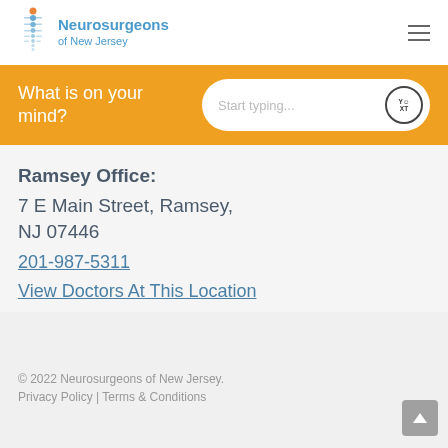[Figure (logo): Neurosurgeons of New Jersey logo with spine graphic and blue text]
What is on your mind?
Ramsey Office:
7 E Main Street, Ramsey, NJ 07446
201-987-5311
View Doctors At This Location
© 2022 Neurosurgeons of New Jersey. Privacy Policy | Terms & Conditions